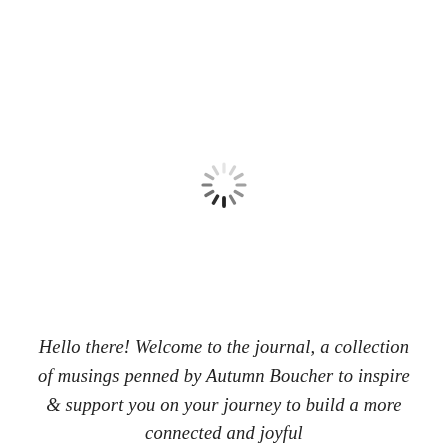[Figure (other): A loading spinner icon (circular dashed/spoked spinner) centered in the upper portion of the page]
Hello there! Welcome to the journal, a collection of musings penned by Autumn Boucher to inspire & support you on your journey to build a more connected and joyful